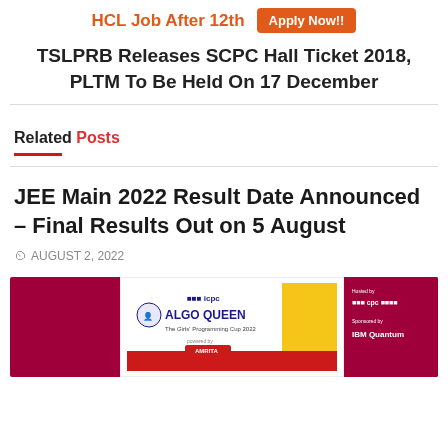HCL Job After 12th  Apply Now!!
TSLPRB Releases SCPC Hall Ticket 2018, PLTM To Be Held On 17 December
Related Posts
JEE Main 2022 Result Date Announced – Final Results Out on 5 August
AUGUST 2, 2022
[Figure (photo): Advertisement banner with ICPC Algo Queen - The Girls Programming Cup 2022 on a dark red and yellow background]